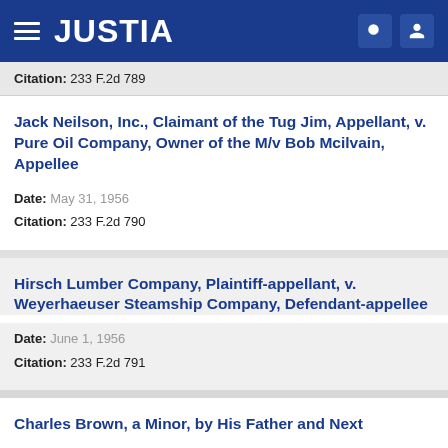JUSTIA
Citation: 233 F.2d 789
Jack Neilson, Inc., Claimant of the Tug Jim, Appellant, v. Pure Oil Company, Owner of the M/v Bob Mcilvain, Appellee
Date: May 31, 1956
Citation: 233 F.2d 790
Hirsch Lumber Company, Plaintiff-appellant, v. Weyerhaeuser Steamship Company, Defendant-appellee
Date: June 1, 1956
Citation: 233 F.2d 791
Charles Brown, a Minor, by His Father and Next